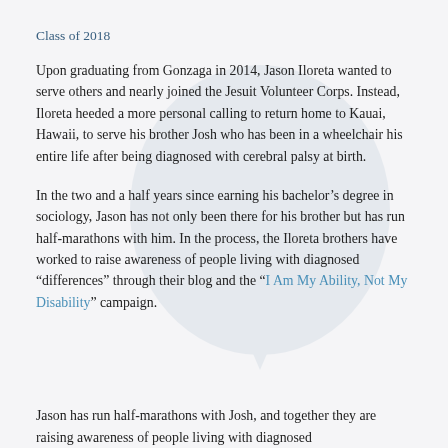Class of 2018
Upon graduating from Gonzaga in 2014, Jason Iloreta wanted to serve others and nearly joined the Jesuit Volunteer Corps. Instead, Iloreta heeded a more personal calling to return home to Kauai, Hawaii, to serve his brother Josh who has been in a wheelchair his entire life after being diagnosed with cerebral palsy at birth.
In the two and a half years since earning his bachelor’s degree in sociology, Jason has not only been there for his brother but has run half-marathons with him. In the process, the Iloreta brothers have worked to raise awareness of people living with diagnosed “differences” through their blog and the “I Am My Ability, Not My Disability” campaign.
Jason has run half-marathons with Josh, and together they are raising awareness of people living with diagnosed